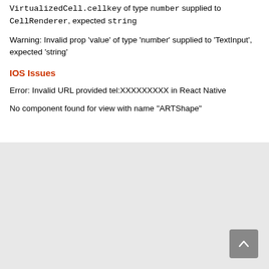VirtualizedCell.cellkey of type `number` supplied to `CellRenderer`, expected `string`
Warning: Invalid prop 'value' of type 'number' supplied to 'TextInput', expected 'string'
IOS Issues
Error: Invalid URL provided tel:XXXXXXXXX in React Native
No component found for view with name "ARTShape"